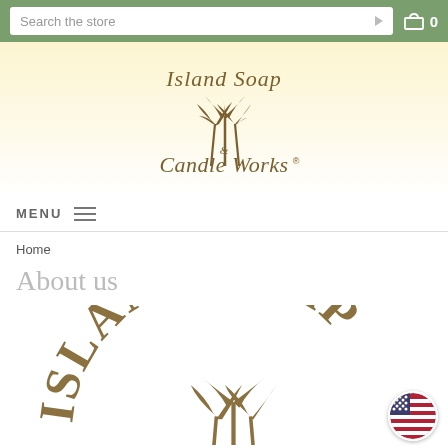Search the store   🛒 0
[Figure (logo): Island Soap & Candle Works logo with palm trees, cursive text]
MENU
Home
About us
[Figure (logo): Large circular Island Soap Shoppe Factory stamp logo with palm trees, tan/brown color, partially cropped at bottom]